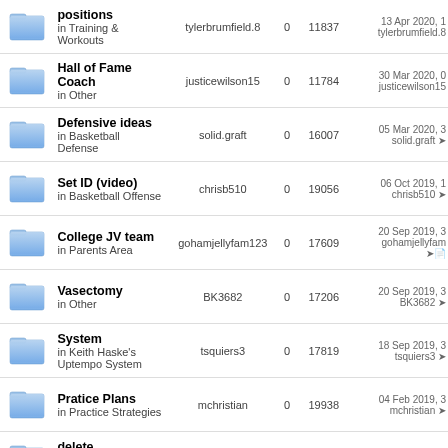|  | Topic | User | Replies | Views | Last Post |
| --- | --- | --- | --- | --- | --- |
| [icon] | positions
in Training & Workouts | tylerbrumfield.8 | 0 | 11837 | 13 Apr 2020, 1
tylerbrumfield.8 |
| [icon] | Hall of Fame Coach
in Other | justicewilson15 | 0 | 11784 | 30 Mar 2020, 0
justicewilson15 |
| [icon] | Defensive ideas
in Basketball Defense | solid.graft | 0 | 16007 | 05 Mar 2020, 3
solid.graft |
| [icon] | Set ID (video)
in Basketball Offense | chrisb510 | 0 | 19056 | 06 Oct 2019, 1
chrisb510 |
| [icon] | College JV team
in Parents Area | gohamjellyfam123 | 0 | 17609 | 20 Sep 2019, 3
gohamjellyfam |
| [icon] | Vasectomy
in Other | BK3682 | 0 | 17206 | 20 Sep 2019, 3
BK3682 |
| [icon] | System
in Keith Haske's Uptempo System | tsquiers3 | 0 | 17819 | 18 Sep 2019, 3
tsquiers3 |
| [icon] | Pratice Plans
in Practice Strategies | mchristian | 0 | 19938 | 04 Feb 2019, 3
mchristian |
| [icon] | delete
in Coaching Strategies | jasonbragg1011 | 0 | 19044 | 11 Jan 2019, 2
jasonbragg101 |
| [icon] | Condensed |  |  |  |  |